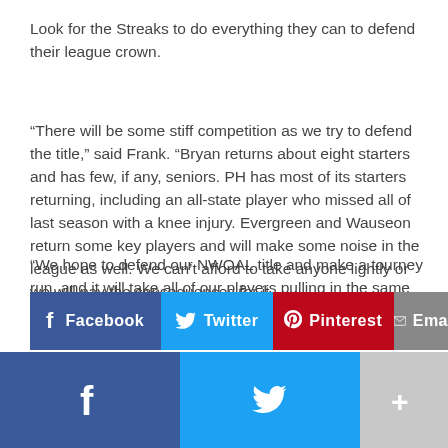Look for the Streaks to do everything they can to defend their league crown.
“There will be some stiff competition as we try to defend the title,” said Frank. “Bryan returns about eight starters and has few, if any, seniors. PH has most of its starters returning, including an all-state player who missed all of last season with a knee injury. Evergreen and Wauseon return some key players and will make some noise in the league as well. We can’t afford to take anyone lightly or we will pay the consequences for it.
“We hope to defend our NWOAL title and make a tourney run, and it will take all of our players pulling in the same direction for that to happen.”
[Figure (infographic): Social share buttons: Facebook (dark blue), Twitter (light blue), Pinterest (red), Email (gray, partially cropped)]
[Figure (infographic): Bottom navigation bar with Facebook (dark blue), Twitter (light blue), and More/Plus (light gray) icons]